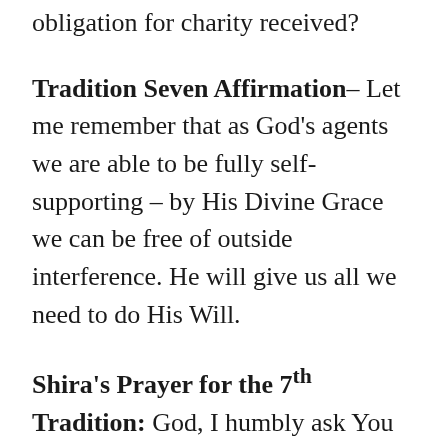obligation for charity received?
Tradition Seven Affirmation– Let me remember that as God's agents we are able to be fully self-supporting – by His Divine Grace we can be free of outside interference. He will give us all we need to do His Will.
Shira's Prayer for the 7th Tradition: God, I humbly ask You to remove my shortcomings of selfishness and self-centeredness. May I not fall prey to the worship of other things, especially money and materialism. Guide me and protect me so that I may place my trust and reliance